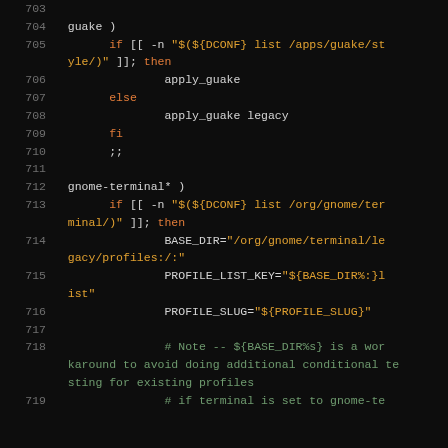[Figure (screenshot): Shell script source code with syntax highlighting on dark background, showing lines 704-719 of a bash script handling guake and gnome-terminal cases with dconf configuration checks.]